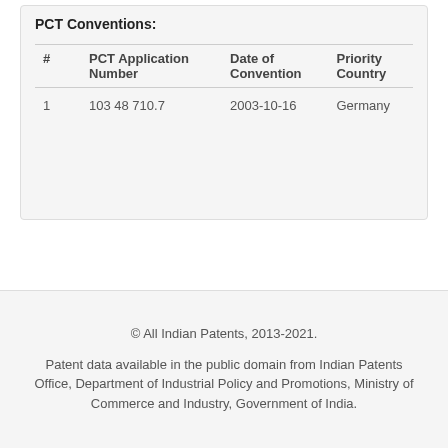PCT Conventions:
| # | PCT Application Number | Date of Convention | Priority Country |
| --- | --- | --- | --- |
| 1 | 103 48 710.7 | 2003-10-16 | Germany |
© All Indian Patents, 2013-2021.
Patent data available in the public domain from Indian Patents Office, Department of Industrial Policy and Promotions, Ministry of Commerce and Industry, Government of India.